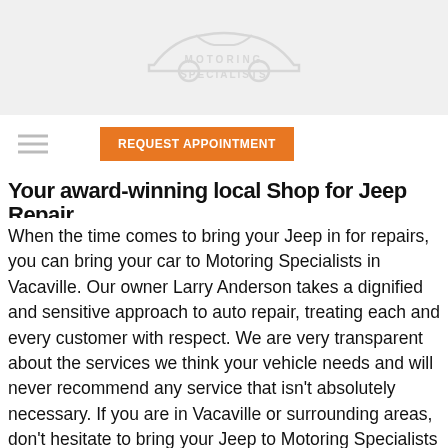[Figure (logo): Motoring Specialists logo with car silhouette outline and text 'MOTORING SPECIALISTS' in light gray]
[Figure (other): Hamburger menu icon (three horizontal lines) on the left, and an orange 'REQUEST APPOINTMENT' button in the navigation bar]
Your award-winning local Shop for Jeep Repair
When the time comes to bring your Jeep in for repairs, you can bring your car to Motoring Specialists in Vacaville. Our owner Larry Anderson takes a dignified and sensitive approach to auto repair, treating each and every customer with respect. We are very transparent about the services we think your vehicle needs and will never recommend any service that isn't absolutely necessary. If you are in Vacaville or surrounding areas, don't hesitate to bring your Jeep to Motoring Specialists